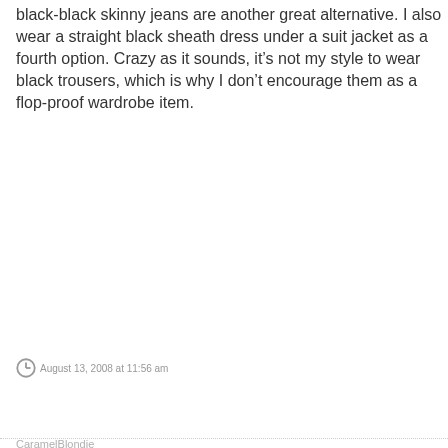black-black skinny jeans are another great alternative. I also wear a straight black sheath dress under a suit jacket as a fourth option. Crazy as it sounds, it’s not my style to wear black trousers, which is why I don’t encourage them as a flop-proof wardrobe item.
August 13, 2008 at 11:56 am
CaramelBlondie